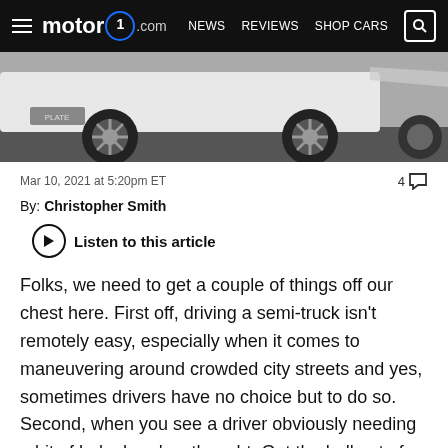motor1.com — NEWS  REVIEWS  SHOP CARS
[Figure (photo): Close-up photo of a white car's side panel, wheel, and tire on a road]
Mar 10, 2021 at 5:20pm ET   4 comments
By: Christopher Smith
Listen to this article
Folks, we need to get a couple of things off our chest here. First off, driving a semi-truck isn't remotely easy, especially when it comes to maneuvering around crowded city streets and yes, sometimes drivers have no choice but to do so. Second, when you see a driver obviously needing a bit of help, here's a thought. Get the hell out of your car and help, or at least, use the